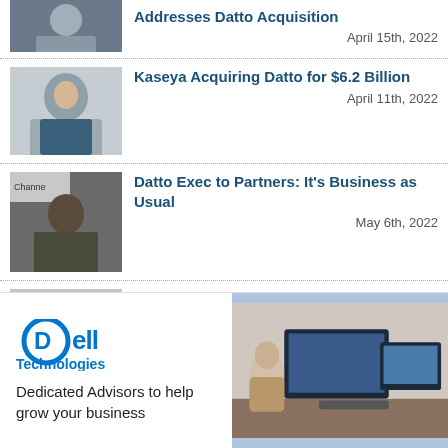[Figure (photo): Partial news item at top - person speaking, text partially visible 'Addresses Datto Acquisition']
April 15th, 2022
[Figure (photo): Headshot of man in suit smiling]
Kaseya Acquiring Datto for $6.2 Billion
April 11th, 2022
[Figure (photo): Man on stage at Channel event speaking]
Datto Exec to Partners: It’s Business as Usual
May 6th, 2022
[Figure (photo): Headshot of man with glasses smiling]
Datto Outlines Cybersecurity Ambitions
March 25th, 2022
[Figure (photo): Partial bottom item - NinjaOne Shins Latest Edition of...]
[Figure (logo): Dell Technologies logo in blue]
Dedicated Advisors to help grow your business
[Figure (photo): Woman sitting at desk with Dell monitor setup]